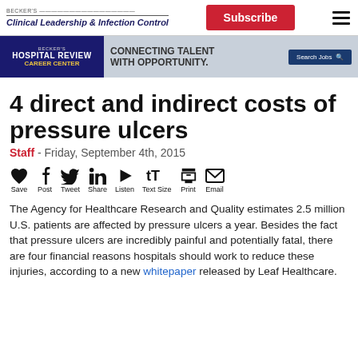BECKER'S Clinical Leadership & Infection Control | Subscribe | Menu
[Figure (infographic): Becker's Hospital Review Career Center banner ad: 'Connecting Talent With Opportunity' with Search Jobs button]
4 direct and indirect costs of pressure ulcers
Staff - Friday, September 4th, 2015
[Figure (infographic): Social sharing bar with icons: Save (heart), Post (Facebook), Tweet (Twitter), Share (LinkedIn), Listen (play), Text Size, Print, Email]
The Agency for Healthcare Research and Quality estimates 2.5 million U.S. patients are affected by pressure ulcers a year. Besides the fact that pressure ulcers are incredibly painful and potentially fatal, there are four financial reasons hospitals should work to reduce these injuries, according to a new whitepaper released by Leaf Healthcare.